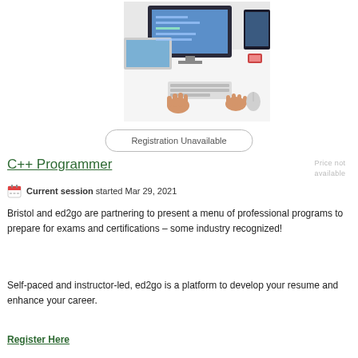[Figure (photo): Overhead view of a person's hands at a keyboard on a desk with a large monitor, laptop, and another screen visible.]
Registration Unavailable
C++ Programmer
Price not available
Current session started Mar 29, 2021
Bristol and ed2go are partnering to present a menu of professional programs to prepare for exams and certifications – some industry recognized!
Self-paced and instructor-led, ed2go is a platform to develop your resume and enhance your career.
Register Here